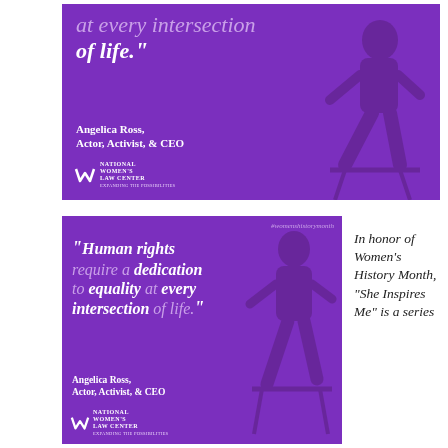[Figure (illustration): Purple promotional banner with quote partially visible: '...at every intersection of life.' attributed to Angelica Ross, Actor, Activist, & CEO. National Women's Law Center logo at bottom left. Silhouette of a woman seated on a stool on the right.]
[Figure (illustration): Purple promotional banner with hashtag #womenshistorymonth, full quote: 'Human rights require a dedication to equality at every intersection of life.' attributed to Angelica Ross, Actor, Activist, & CEO. National Women's Law Center logo at bottom left. Full figure of seated woman on right.]
In honor of Women's History Month, “She Inspires Me” is a series